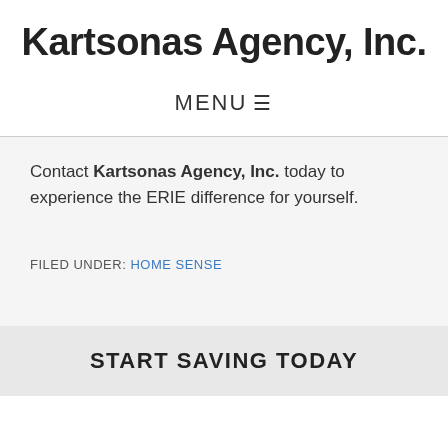Kartsonas Agency, Inc.
MENU ☰
Contact Kartsonas Agency, Inc. today to experience the ERIE difference for yourself.
FILED UNDER: HOME SENSE
START SAVING TODAY